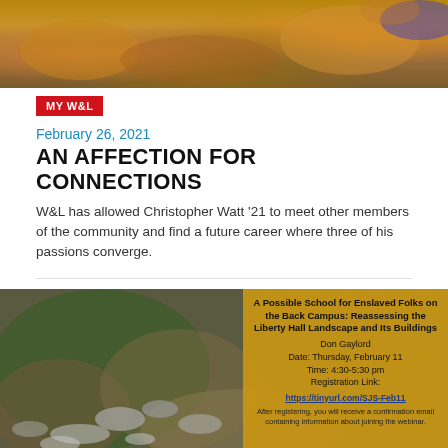[Figure (photo): Top photo showing autumn leaves and colorful clothing, partially cropped at top of page]
MY W&L
February 26, 2021
AN AFFECTION FOR CONNECTIONS
W&L has allowed Christopher Watt '21 to meet other members of the community and find a future career where three of his passions converge.
[Figure (photo): Archaeological excavation site with rocks and a promotional overlay box for an event about a possible school for enslaved folks on the back campus, reassessing the Liberty Hall Landscape and its buildings. Don Gaylord, Thursday February 11, 4:30-5:30pm, Registration Link: https://tinyurl.com/SJS-Feb11]